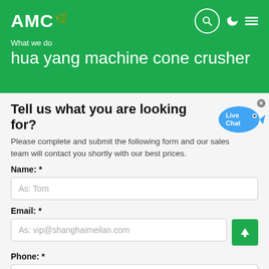AMC — What we do
hua yang machine cone crusher
Tell us what you are looking for?
Please complete and submit the following form and our sales team will contact you shortly with our best prices.
Name: *
As: Tom
Email: *
As: vip@shanghaimeilan.com
Phone: *
With Country Code